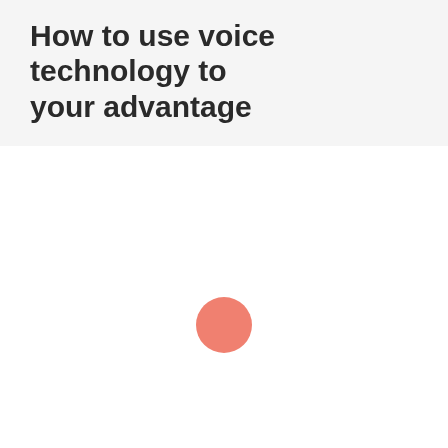How to use voice technology to your advantage
[Figure (illustration): A single salmon/coral-colored circle centered in the white body area, resembling a loading indicator or decorative dot.]